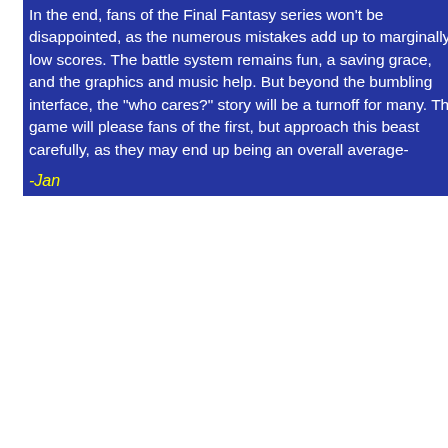In the end, fans of the Final Fantasy series won't be disappointed, as the numerous mistakes add up to marginally low scores. The battle system remains fun, a saving grace, and the graphics and music help. But beyond the bumbling interface, the "who cares?" story will be a turnoff for many. The game will please fans of the first, but approach this beast carefully, as they may end up being an overall average-
-Jan
|  | Sco |
| --- | --- |
|  | G |
| Overall
Average
Out of 10
See our Review
Criteria | Soun
Repl |
|  | Th |
[Figure (illustration): Three repeated blue/purple mountain panels with italic white 'We' text labels, arranged vertically on the left-center portion of the page]